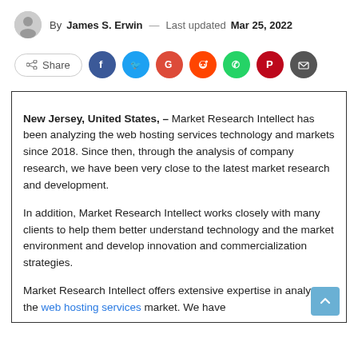By James S. Erwin — Last updated Mar 25, 2022
[Figure (other): Social share bar with Share button and social media icons: Facebook, Twitter, Google, Reddit, WhatsApp, Pinterest, Email]
New Jersey, United States, – Market Research Intellect has been analyzing the web hosting services technology and markets since 2018. Since then, through the analysis of company research, we have been very close to the latest market research and development.

In addition, Market Research Intellect works closely with many clients to help them better understand technology and the market environment and develop innovation and commercialization strategies.

Market Research Intellect offers extensive expertise in analyzing the web hosting services market. We have